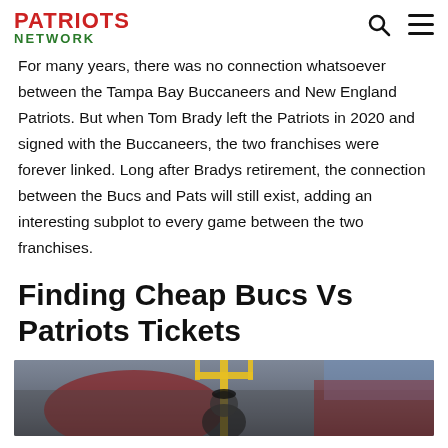PATRIOTS NETWORK
For many years, there was no connection whatsoever between the Tampa Bay Buccaneers and New England Patriots. But when Tom Brady left the Patriots in 2020 and signed with the Buccaneers, the two franchises were forever linked. Long after Bradys retirement, the connection between the Bucs and Pats will still exist, adding an interesting subplot to every game between the two franchises.
Finding Cheap Bucs Vs Patriots Tickets
[Figure (photo): Photo of a person at a football stadium with goalpost visible and crowd in background, related to Bucs vs Patriots game.]